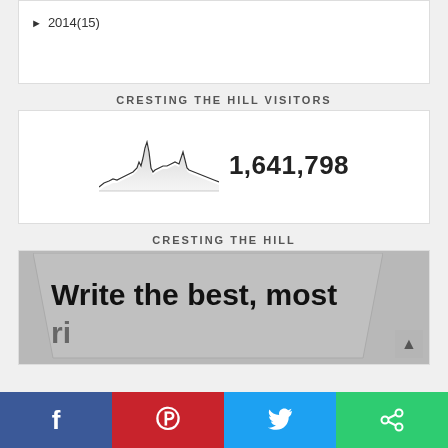► 2014(15)
CRESTING THE HILL VISITORS
[Figure (continuous-plot): Small area/line chart showing visitor traffic over time with peaks]
1,641,798
CRESTING THE HILL
[Figure (photo): Photo of a road sign with text 'Write the best, most...' partially visible]
Social sharing bar with Facebook, Pinterest, Twitter, and share buttons